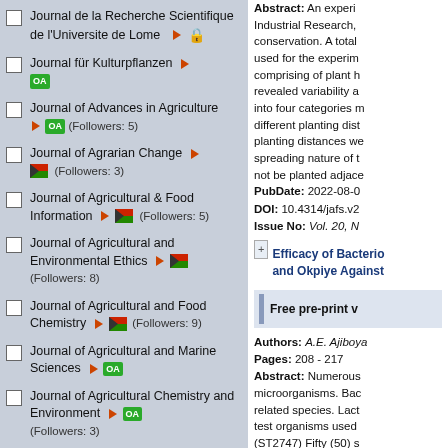Journal de la Recherche Scientifique de l'Universite de Lome [arrow] [lock]
Journal für Kulturpflanzen [arrow] OA
Journal of Advances in Agriculture [arrow] OA (Followers: 5)
Journal of Agrarian Change [arrow] [flag] (Followers: 3)
Journal of Agricultural & Food Information [arrow] [flag] (Followers: 5)
Journal of Agricultural and Environmental Ethics [arrow] [flag] (Followers: 8)
Journal of Agricultural and Food Chemistry [arrow] [flag] (Followers: 9)
Journal of Agricultural and Marine Sciences [arrow] OA
Journal of Agricultural Chemistry and Environment [arrow] OA (Followers: 3)
Journal of Agricultural Economics
Abstract: An experiment... Industrial Research,... conservation. A total... used for the experiment... comprising of plant h... revealed variability a... into four categories m... different planting dist... planting distances we... spreading nature of t... not be planted adjace...
PubDate: 2022-08-0...
DOI: 10.4314/jafs.v2...
Issue No: Vol. 20, N...
Efficacy of Bacterio... and Okpiye Against...
Free pre-print v...
Authors: A.E. Ajiboya...
Pages: 208 - 217
Abstract: Numerous... microorganisms. Bac... related species. Lact... test organisms used... (ST2747) Fifty (50) s... lactic acid producers... isolated from the two... total lactic acid bacte... Okpiye ranges from...